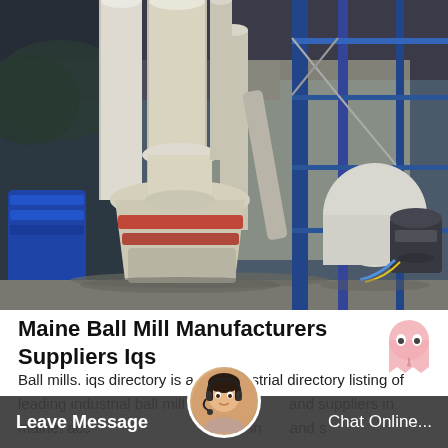[Figure (photo): Industrial ball mill equipment with large cylindrical silos/pipes, a cone-shaped grinding mill with red rings, scaffolding with blue steel poles, and other heavy machinery in an outdoor industrial setting.]
Maine Ball Mill Manufacturers Suppliers Iqs
Ball mills. iqs directory is a top industrial directory listing of leading industrial ball mill manufacturers and suppliers in maine. access our comprehensive index and s
Leave Message   Chat Online...